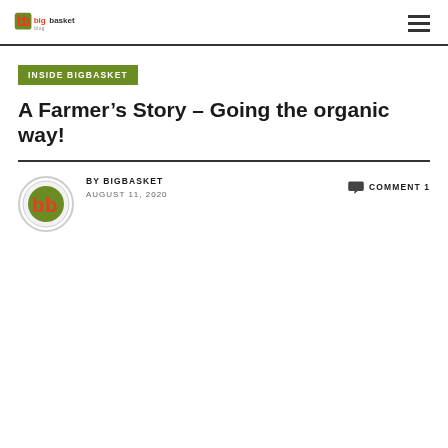bigbasket blog logo and navigation
INSIDE BIGBASKET
A Farmer's Story – Going the organic way!
BY BIGBASKET  AUGUST 11, 2020  COMMENT 1